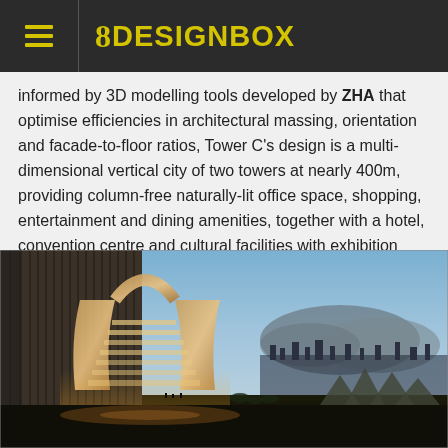8 DESIGNBOX
informed by 3D modelling tools developed by ZHA that optimise efficiencies in architectural massing, orientation and facade-to-floor ratios, Tower C's design is a multi-dimensional vertical city of two towers at nearly 400m, providing column-free naturally-lit office space, shopping, entertainment and dining amenities, together with a hotel, convention centre and cultural facilities with exhibition galleries.
[Figure (photo): Architectural rendering of Tower C, a futuristic skyscraper complex with a distinctive curved arch opening between two towers, illuminated at dusk with city lights and mountains in the background.]